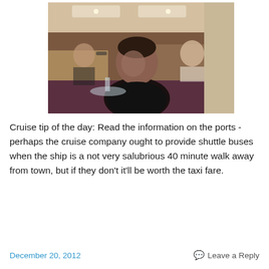[Figure (photo): A person sitting in a cruise ship dining room, looking upward. The dining room has warm lighting, other diners and staff visible in the background, with restaurant-style booths and chairs.]
Cruise tip of the day: Read the information on the ports - perhaps the cruise company ought to provide shuttle buses when the ship is a not very salubrious 40 minute walk away from town, but if they don't it'll be worth the taxi fare.
December 20, 2012    Leave a Reply